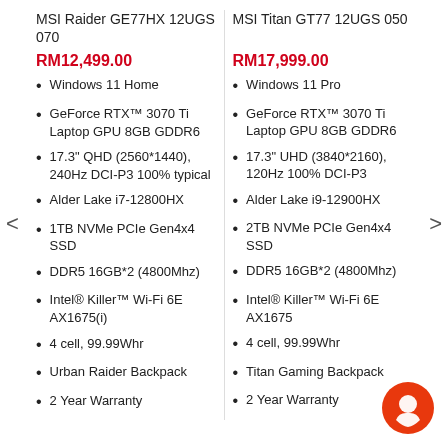MSI Raider GE77HX 12UGS 070
MSI Titan GT77 12UGS 050
RM12,499.00
RM17,999.00
Windows 11 Home
Windows 11 Pro
GeForce RTX™ 3070 Ti Laptop GPU 8GB GDDR6
GeForce RTX™ 3070 Ti Laptop GPU 8GB GDDR6
17.3" QHD (2560*1440), 240Hz DCI-P3 100% typical
17.3" UHD (3840*2160), 120Hz 100% DCI-P3
Alder Lake i7-12800HX
Alder Lake i9-12900HX
1TB NVMe PCIe Gen4x4 SSD
2TB NVMe PCIe Gen4x4 SSD
DDR5 16GB*2 (4800Mhz)
DDR5 16GB*2 (4800Mhz)
Intel® Killer™ Wi-Fi 6E AX1675(i)
Intel® Killer™ Wi-Fi 6E AX1675
4 cell, 99.99Whr
4 cell, 99.99Whr
Urban Raider Backpack
Titan Gaming Backpack
2 Year Warranty
2 Year Warranty